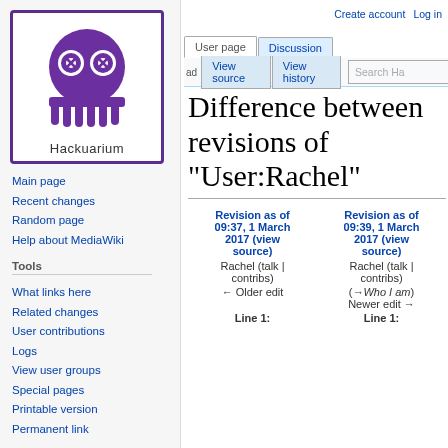[Figure (logo): Hackuarium logo: purple octopus/squid character with a white square border, text 'Hackuarium' below]
Main page
Recent changes
Random page
Help about MediaWiki
Tools
What links here
Related changes
User contributions
Logs
View user groups
Special pages
Printable version
Permanent link
Create account  Log in
Difference between revisions of "User:Rachel"
| Revision as of 09:37, 1 March 2017 (view source) | Revision as of 09:39, 1 March 2017 (view source) |
| --- | --- |
| Rachel (talk | contribs) | Rachel (talk | contribs) |
| ← Older edit | (→Who I am)
Newer edit → |
| Line 1: | Line 1: |